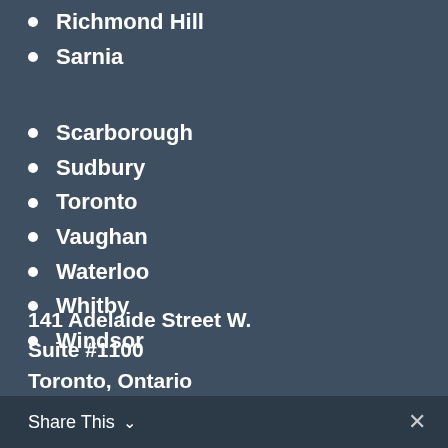Richmond Hill
Sarnia
Scarborough
Sudbury
Toronto
Vaughan
Waterloo
Whitby
Windsor
141 Adelaide Street W.
Suite #1100
Toronto, Ontario
Share This ✓  ✕